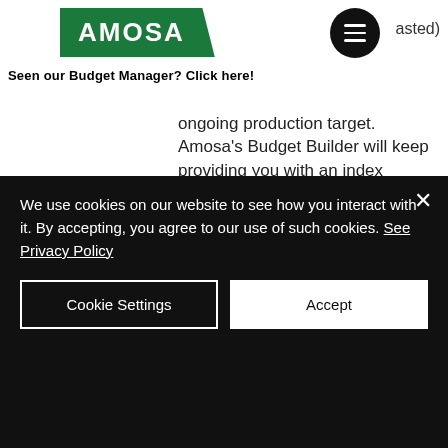AMOSA | Seen our Budget Manager? Click here! | asted)
ongoing production target. Amosa's Budget Builder will keep providing you with an index number that will tell you if you are 'on target'. For example, an index number of 95 means you are sllightly lower in your expenses for maintenance compared to the Asset Financials set by your management, while an index of 120% would indicate you are way overspending compared to your production output
We use cookies on our website to see how you interact with it. By accepting, you agree to our use of such cookies. See Privacy Policy
Cookie Settings
Accept